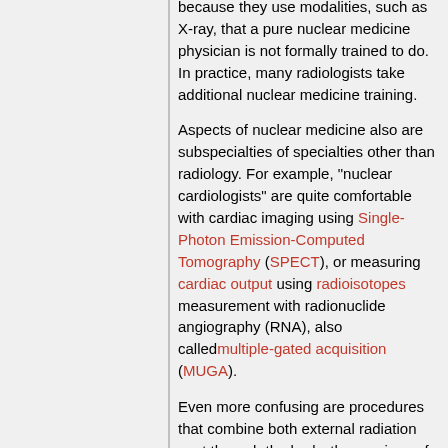because they use modalities, such as X-ray, that a pure nuclear medicine physician is not formally trained to do. In practice, many radiologists take additional nuclear medicine training.
Aspects of nuclear medicine also are subspecialties of specialties other than radiology. For example, "nuclear cardiologists" are quite comfortable with cardiac imaging using Single-Photon Emission-Computed Tomography (SPECT), or measuring cardiac output using radioisotopes measurement with radionuclide angiography (RNA), also calledmultiple-gated acquisition (MUGA).
Even more confusing are procedures that combine both external radiation sent through the body, the province of radiology, and radioisotopes injected into the patient, the province of nuclear medicine. Positron emission tomography (PET) scans, which create images of physiologic activity based on the external measurement of positrons, is